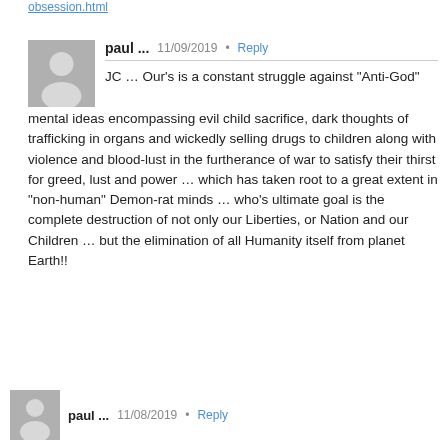obsession.html
paul ... 11/09/2019 • Reply
JC … Our's is a constant struggle against “Anti-God” mental ideas encompassing evil child sacrifice, dark thoughts of trafficking in organs and wickedly selling drugs to children along with violence and blood-lust in the furtherance of war to satisfy their thirst for greed, lust and power … which has taken root to a great extent in “non-human” Demon-rat minds … who’s ultimate goal is the complete destruction of not only our Liberties, or Nation and our Children … but the elimination of all Humanity itself from planet Earth!!
paul ... 11/08/2019 • Reply